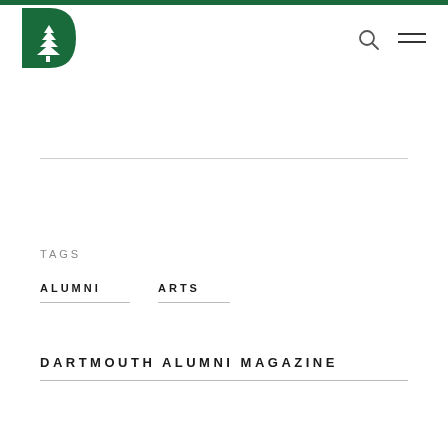[Figure (logo): Dartmouth College green 'D' logo with white pine tree]
TAGS
ALUMNI
ARTS
DARTMOUTH ALUMNI MAGAZINE